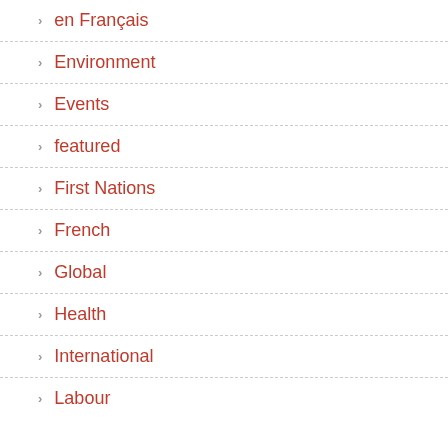> en Français
> Environment
> Events
> featured
> First Nations
> French
> Global
> Health
> International
> Labour